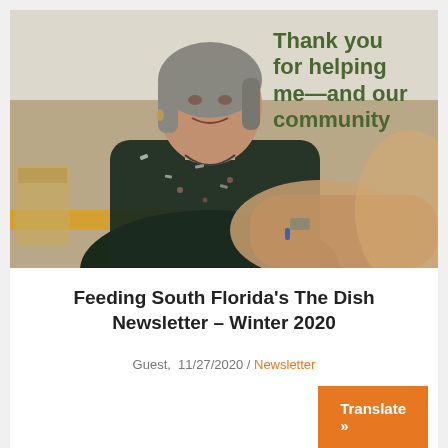[Figure (photo): Photo of an older woman with gray hair wearing a dark floral blouse and multiple necklaces, smiling and reaching out her hand. Overlaid text in dark green reads: Thank you for helping me—and our community]
Feeding South Florida's The Dish Newsletter – Winter 2020
Guest,  11/27/2020 / Newsletter
Translate »